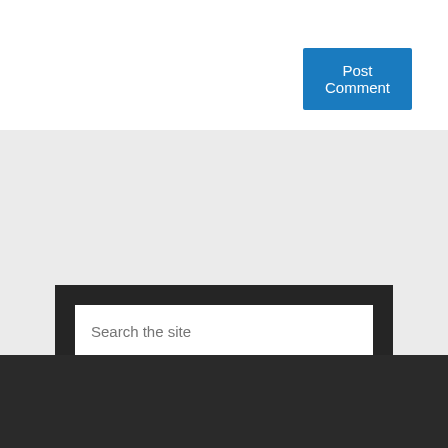Post Comment
[Figure (screenshot): Search widget with a text input field labeled 'Search the site' and a blue 'Search' button, set on a dark background panel]
OUR WEBSITE
About Us
Affiliate Disclosure
Contact Us